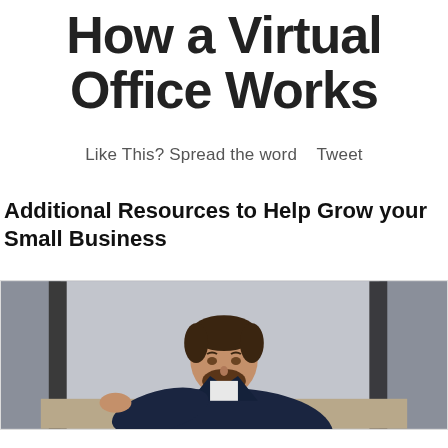How a Virtual Office Works
Like This? Spread the word   Tweet
Additional Resources to Help Grow your Small Business
[Figure (photo): A man with a beard wearing a dark suit jacket, sitting at a desk looking downward, photographed in an office environment with blurred background]